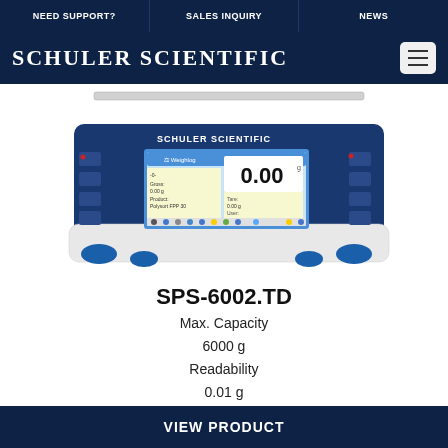NEED SUPPORT?  |  SALES INQUIRY  |  NEWS
SCHULER SCIENTIFIC
[Figure (photo): Laboratory precision balance scale (SPS-6002.TD) showing a digital touchscreen display reading 0.00 g with blue body and white base, Schuler Scientific branding on the display]
SPS-6002.TD
Max. Capacity
6000 g
Readability
0.01 g
Calibration Type
Internal
VIEW PRODUCT